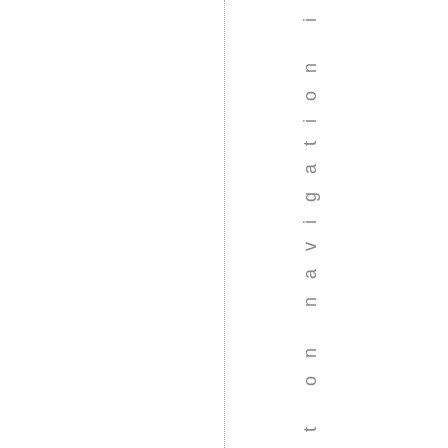y, simprint on navigation i
[Figure (other): Dotted vertical line dividing the page]